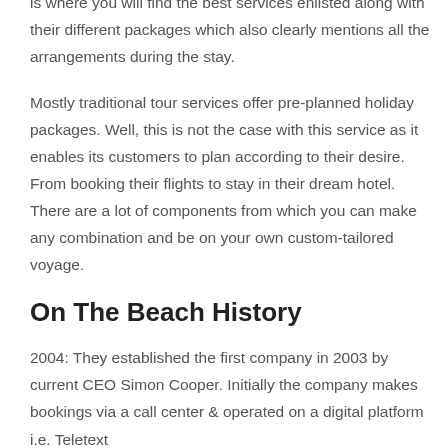on the beach to feel the warmth of the sun. On The Beach is where you will find the best services enlisted along with their different packages which also clearly mentions all the arrangements during the stay.
Mostly traditional tour services offer pre-planned holiday packages. Well, this is not the case with this service as it enables its customers to plan according to their desire. From booking their flights to stay in their dream hotel. There are a lot of components from which you can make any combination and be on your own custom-tailored voyage.
On The Beach History
2004: They established the first company in 2003 by current CEO Simon Cooper. Initially the company makes bookings via a call center & operated on a digital platform i.e. Teletext